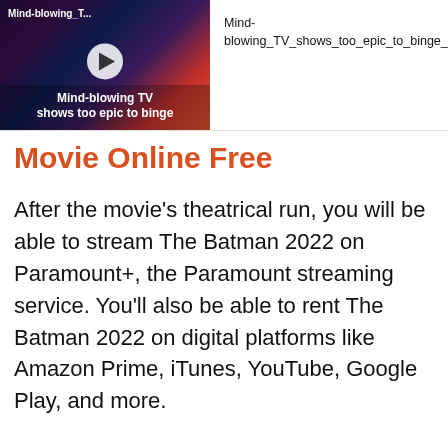[Figure (screenshot): Video thumbnail showing a dark, colorful abstract brain/neuron image with a white play button circle in the center. Text overlay at top-left reads 'Mind-blowing_T...' and bottom text reads 'Mind-blowing TV shows too epic to binge']
Mind-blowing_TV_shows_too_epic_to_binge_1080p
Movie Online Free
After the movie's theatrical run, you will be able to stream The Batman 2022 on Paramount+, the Paramount streaming service. You'll also be able to rent The Batman 2022 on digital platforms like Amazon Prime, iTunes, YouTube, Google Play, and more.